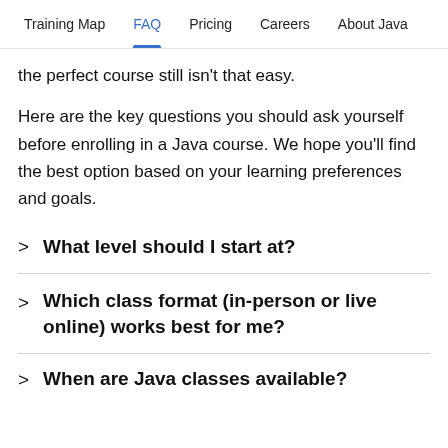Training Map | FAQ | Pricing | Careers | About Java
the perfect course still isn't that easy.
Here are the key questions you should ask yourself before enrolling in a Java course. We hope you'll find the best option based on your learning preferences and goals.
What level should I start at?
Which class format (in-person or live online) works best for me?
When are Java classes available?